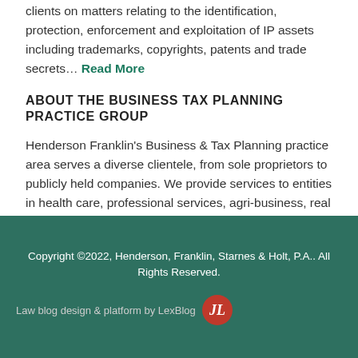clients on matters relating to the identification, protection, enforcement and exploitation of IP assets including trademarks, copyrights, patents and trade secrets… Read More
ABOUT THE BUSINESS TAX PLANNING PRACTICE GROUP
Henderson Franklin's Business & Tax Planning practice area serves a diverse clientele, from sole proprietors to publicly held companies. We provide services to entities in health care, professional services, agri-business, real estate investment and development, construction, public utilities, finance and banking…Read More
Copyright ©2022, Henderson, Franklin, Starnes & Holt, P.A.. All Rights Reserved. Law blog design & platform by LexBlog